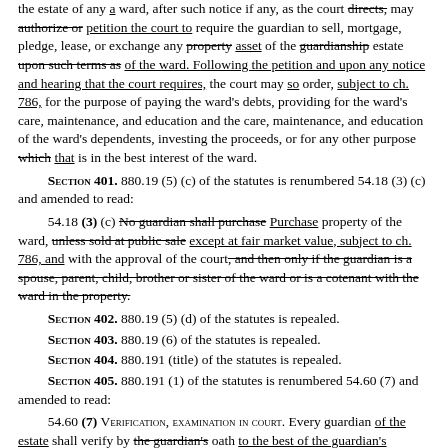the estate of any ward, after such notice if any, as the court directs, may authorize or petition the court to require the guardian to sell, mortgage, pledge, lease, or exchange any property asset of the guardianship estate upon such terms as of the ward. Following the petition and upon any notice and hearing that the court requires, the court may so order, subject to ch. 786, for the purpose of paying the ward's debts, providing for the ward's care, maintenance, and education and the care, maintenance, and education of the ward's dependents, investing the proceeds, or for any other purpose which that is in the best interest of the ward.
SECTION 401. 880.19 (5) (c) of the statutes is renumbered 54.18 (3) (c) and amended to read:
54.18 (3) (c) No guardian shall purchase Purchase property of the ward, unless sold at public sale except at fair market value, subject to ch. 786, and with the approval of the court, and then only if the guardian is a spouse, parent, child, brother or sister of the ward or is a cotenant with the ward in the property.
SECTION 402. 880.19 (5) (d) of the statutes is repealed.
SECTION 403. 880.19 (6) of the statutes is repealed.
SECTION 404. 880.191 (title) of the statutes is repealed.
SECTION 405. 880.191 (1) of the statutes is renumbered 54.60 (7) and amended to read:
54.60 (7) VERIFICATION, EXAMINATION IN COURT. Every guardian of the estate shall verify by the guardian's oath to the best of the guardian's information and belief that every inventory required the guardian and verification shall be to the effect that the